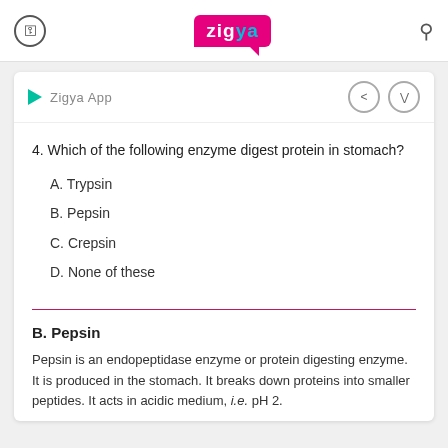Zigya App
Zigya App
4. Which of the following enzyme digest protein in stomach?
A. Trypsin
B. Pepsin
C. Crepsin
D. None of these
B. Pepsin
Pepsin is an endopeptidase enzyme or protein digesting enzyme. It is produced in the stomach. It breaks down proteins into smaller peptides. It acts in acidic medium, i.e. pH 2.